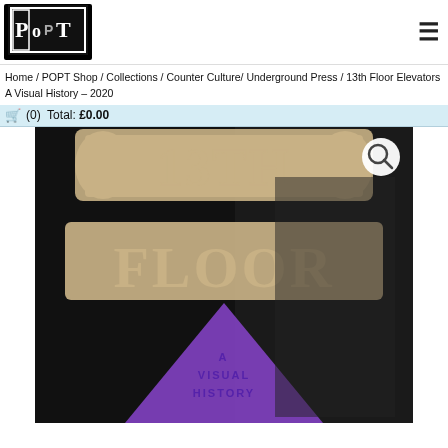[Figure (logo): POPT logo - black square with white text letters P, O, P, T in stylized font]
Home / POPT Shop / Collections / Counter Culture/ Underground Press / 13th Floor Elevators A Visual History – 2020
🛒 (0)  Total: £0.00
[Figure (photo): Book cover of '13th Floor Elevators A Visual History' - dark background with psychedelic 1960s style lettering showing '13TH FLOOR' in large beige/tan Art Nouveau styled text, a purple triangle below, and text reading 'A VISUAL HISTORY' inside the triangle area]